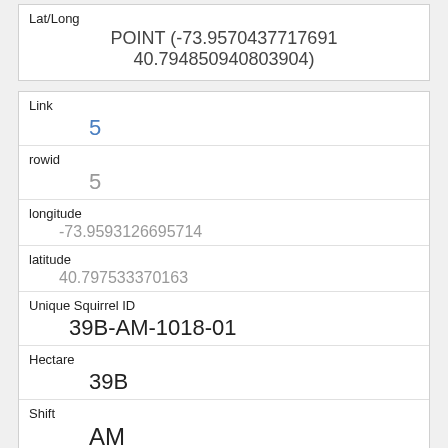| Field | Value |
| --- | --- |
| Lat/Long | POINT (-73.9570437717691 40.794850940803904) |
| Link | 5 |
| rowid | 5 |
| longitude | -73.9593126695714 |
| latitude | 40.797533370163 |
| Unique Squirrel ID | 39B-AM-1018-01 |
| Hectare | 39B |
| Shift | AM |
| Date | 10182018 |
| Hectare Squirrel Number |  |